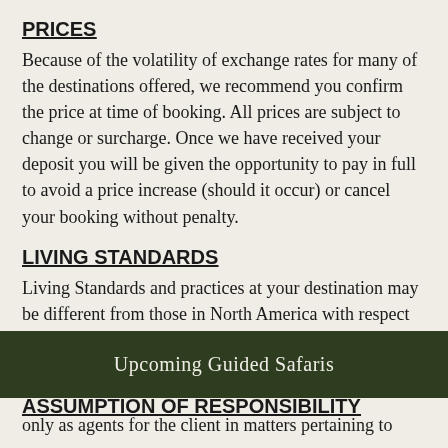PRICES
Because of the volatility of exchange rates for many of the destinations offered, we recommend you confirm the price at time of booking. All prices are subject to change or surcharge. Once we have received your deposit you will be given the opportunity to pay in full to avoid a price increase (should it occur) or cancel your booking without penalty.
LIVING STANDARDS
Living Standards and practices at your destination may be different from those in North America with respect to provisions of utilities, services, transportation, and accommodation.
ASSUMPTION OF RESPONSIBILITY
[Figure (other): Dark green banner with text 'Upcoming Guided Safaris']
only as agents for the client in matters pertaining to